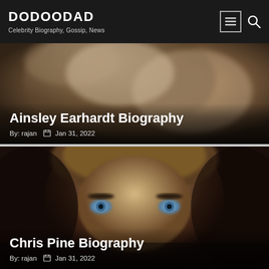DODOODAD
Celebrity Biography, Gossip, News
[Figure (photo): Blurred close-up photo of a woman's face, used as background for Ainsley Earhardt article card]
Ainsley Earhardt Biography
By: rajan  Jan 31, 2022
[Figure (photo): Close-up portrait of Chris Pine, a man with blue eyes and styled sandy-brown hair, dark background, used as article card background]
Chris Pine Biography
By: rajan  Jan 31, 2022